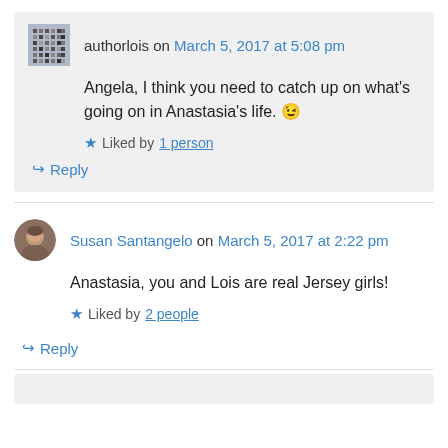authorlois on March 5, 2017 at 5:08 pm
Angela, I think you need to catch up on what's going on in Anastasia's life. 😉
Liked by 1 person
Reply
Susan Santangelo on March 5, 2017 at 2:22 pm
Anastasia, you and Lois are real Jersey girls!
Liked by 2 people
Reply